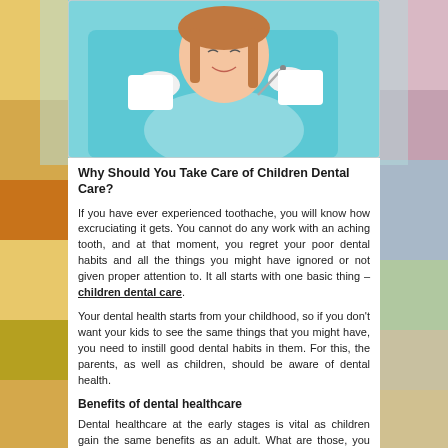[Figure (photo): A child lying in a dental chair being examined by a dentist with dental tools, wearing a light blue bib. The child has braided hair and is smiling. The dentist wears white coat and gloves.]
Why Should You Take Care of Children Dental Care?
If you have ever experienced toothache, you will know how excruciating it gets. You cannot do any work with an aching tooth, and at that moment, you regret your poor dental habits and all the things you might have ignored or not given proper attention to. It all starts with one basic thing – children dental care.
Your dental health starts from your childhood, so if you don't want your kids to see the same things that you might have, you need to instill good dental habits in them. For this, the parents, as well as children, should be aware of dental health.
Benefits of dental healthcare
Dental healthcare at the early stages is vital as children gain the same benefits as an adult. What are those, you may wonder? Here are they: